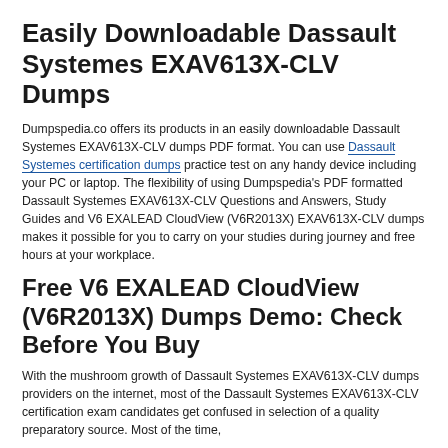Easily Downloadable Dassault Systemes EXAV613X-CLV Dumps
Dumpspedia.co offers its products in an easily downloadable Dassault Systemes EXAV613X-CLV dumps PDF format. You can use Dassault Systemes certification dumps practice test on any handy device including your PC or laptop. The flexibility of using Dumpspedia’s PDF formatted Dassault Systemes EXAV613X-CLV Questions and Answers, Study Guides and V6 EXALEAD CloudView (V6R2013X) EXAV613X-CLV dumps makes it possible for you to carry on your studies during journey and free hours at your workplace.
Free V6 EXALEAD CloudView (V6R2013X) Dumps Demo: Check Before You Buy
With the mushroom growth of Dassault Systemes EXAV613X-CLV dumps providers on the internet, most of the Dassault Systemes EXAV613X-CLV certification exam candidates get confused in selection of a quality preparatory source. Most of the time,